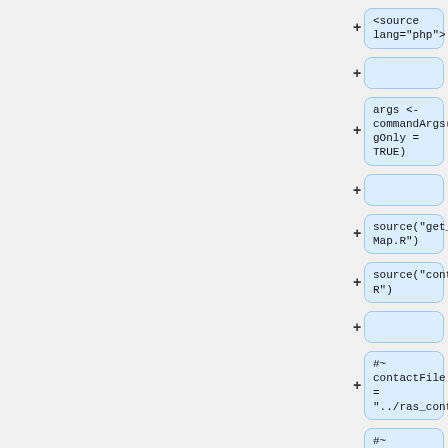[Figure (screenshot): A code diff/version control interface showing a vertical list of collapsible code blocks on the right side of the page. Each block has a '+' button on its left and contains code snippets. The blocks show: '<source lang="php">', an empty block, 'args <- commandArgs(trailingOnly = TRUE)', an empty block, 'source("get_contactMap.R")', 'source("contact_util.R")', an empty block, '#~ contactFile = "../ras_contacts.out"', '#~ pdbFile = "5P21.pdb"', '#~ seqL = 160', and '#~ offset=0' (partially visible). The left portion of the page is a light gray panel.]